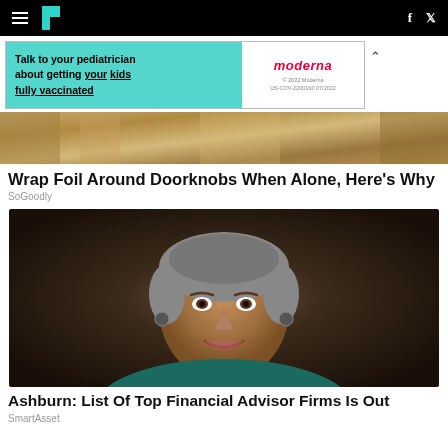HuffPost navigation header with hamburger menu, logo, Facebook and Twitter icons
[Figure (screenshot): Moderna advertisement banner: 'Talk to your pediatrician about getting your kids fully vaccinated' with Moderna logo and fine print]
[Figure (photo): Abstract golden/bronze architectural detail image for article about wrapping foil around doorknobs]
Wrap Foil Around Doorknobs When Alone, Here's Why
SoGoodly
[Figure (photo): Professional headshot of a middle-aged woman with short grey hair, smiling, wearing a teal top, against a dark grey background]
Ashburn: List Of Top Financial Advisor Firms Is Out
SmartAsset